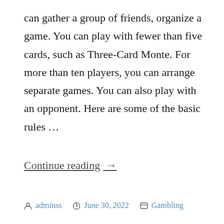can gather a group of friends, organize a game. You can play with fewer than five cards, such as Three-Card Monte. For more than ten players, you can arrange separate games. You can also play with an opponent. Here are some of the basic rules …
Continue reading →
adminss   June 30, 2022   Gambling